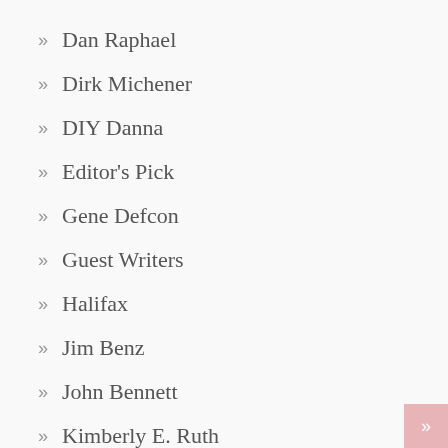Dan Raphael
Dirk Michener
DIY Danna
Editor's Pick
Gene Defcon
Guest Writers
Halifax
Jim Benz
John Bennett
Kimberly E. Ruth